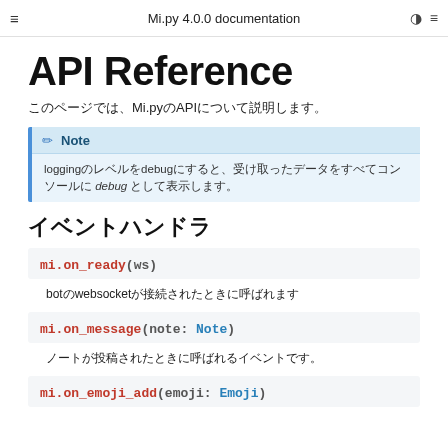Mi.py 4.0.0 documentation
API Reference
このページでは、Mi.pyのAPIについて説明します。
Note
loggingのレベルをdebugにすると、受け取ったデータをすべてコンソールに debug として表示します。
イベントハンドラ
mi.on_ready(ws)
botのwebsocketが接続されたときに呼ばれます
mi.on_message(note: Note)
ノートが投稿されたときに呼ばれるイベントです。
mi.on_emoji_add(emoji: Emoji)